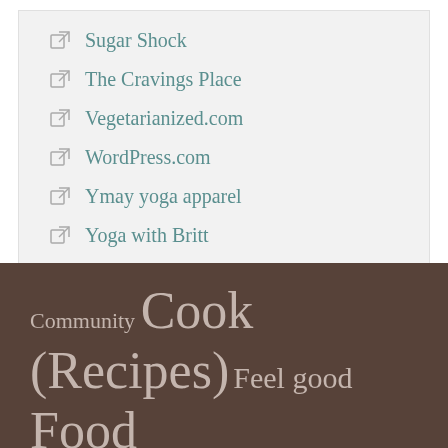Sugar Shock
The Cravings Place
Vegetarianized.com
WordPress.com
Ymay yoga apparel
Yoga with Britt
Zevia natural soda
Community Cook (Recipes) Feel good Food